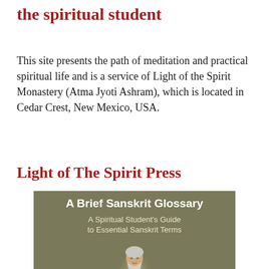the spiritual student
This site presents the path of meditation and practical spiritual life and is a service of Light of the Spirit Monastery (Atma Jyoti Ashram), which is located in Cedar Crest, New Mexico, USA.
Light of The Spirit Press
[Figure (illustration): Book cover for 'A Brief Sanskrit Glossary: A Spiritual Student's Guide to Essential Sanskrit Terms' featuring a painted portrait of a sage or holy man with white hair and beard against a muted olive/gold background.]